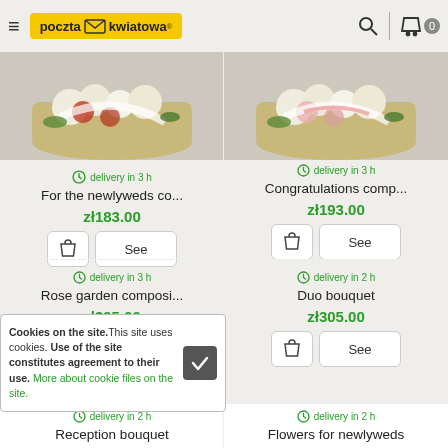poczta kwiatowa - navigation header
delivery in 3 h
For the newlyweds co...
zł183.00
delivery in 3 h
Congratulations comp...
zł193.00
delivery in 3 h
Rose garden composi...
zł295.00
delivery in 2 h
Duo bouquet
zł305.00
delivery in 2 h
Reception bouquet
delivery in 2 h
Flowers for newlyweds
Cookies on the site. This site uses cookies. Use of the site constitutes agreement to their use. More about cookie files on the site.